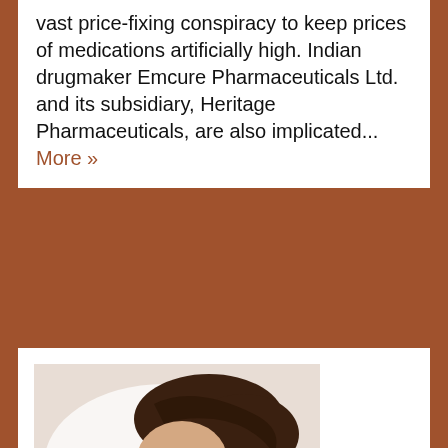vast price-fixing conspiracy to keep prices of medications artificially high. Indian drugmaker Emcure Pharmaceuticals Ltd. and its subsidiary, Heritage Pharmaceuticals, are also implicated... More »
[Figure (photo): Woman sleeping in bed with white covers, head resting on pillow]
Sleep Deprivation More Harmful Than You Think
Posted by Alanna Baker on Sep 26th, 2017
A new book shows the effects of not getting enough sleep are much more serious than just a groggy state of mind. Matthew Walker, the